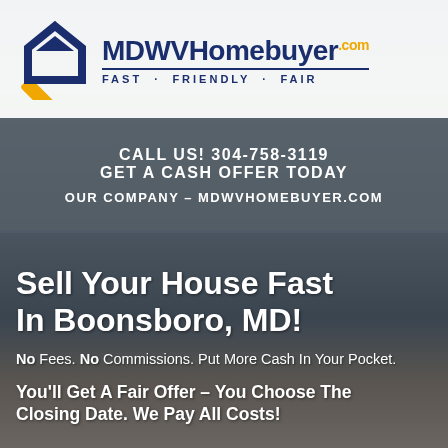[Figure (logo): MDWVHomebuyer.com logo with dark blue diamond house icon and yellow accent, text reads MDWVHomebuyer.com with tagline FAST · FRIENDLY · FAIR]
CALL US! 304-758-3119
GET A CASH OFFER TODAY
OUR COMPANY – MDWVHOMEBUYER.COM
Sell Your House Fast In Boonsboro, MD!
No Fees. No Commissions. Put More Cash In Your Pocket.
You'll Get A Fair Offer – You Choose The Closing Date. We Pay All Costs!